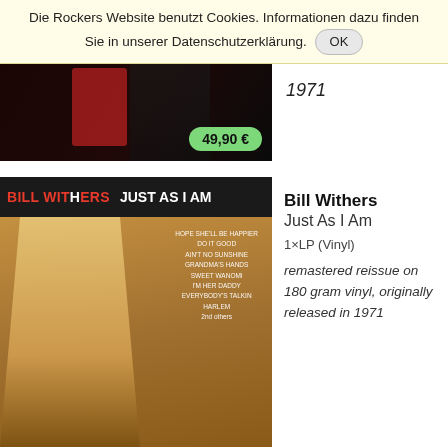Die Rockers Website benutzt Cookies. Informationen dazu finden Sie in unserer Datenschutzerklärung. OK
1971
49,90 €
[Figure (photo): Dark album cover with red accent, price tag showing 49,90 €]
Bill Withers
Just As I Am
1×LP (Vinyl)
remastered reissue on 180 gram vinyl, originally released in 1971
[Figure (photo): Bill Withers Just As I Am album cover showing artist standing against brick wall]